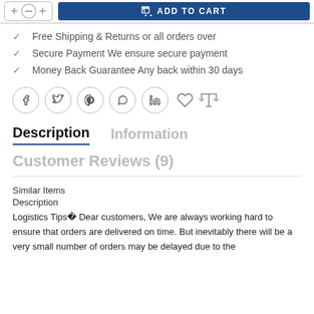[Figure (screenshot): Top bar showing quantity selector with minus and plus buttons, and a blue ADD TO CART button with cart icon]
Free Shipping & Returns or all orders over
Secure Payment We ensure secure payment
Money Back Guarantee Any back within 30 days
[Figure (other): Social sharing icons row: Facebook, Twitter, Pinterest, WhatsApp, LinkedIn (in circles), Heart icon, Scale/compare icon]
Description
Information
Customer Reviews (9)
Similar Items
Description
Logistics Tips Dear customers, We are always working hard to ensure that orders are delivered on time. But inevitably there will be a very small number of orders may be delayed due to the